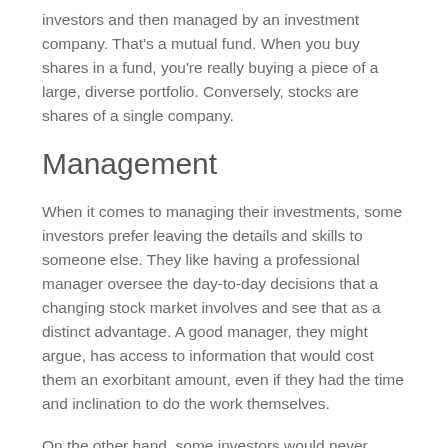investors and then managed by an investment company. That's a mutual fund. When you buy shares in a fund, you're really buying a piece of a large, diverse portfolio. Conversely, stocks are shares of a single company.
Management
When it comes to managing their investments, some investors prefer leaving the details and skills to someone else. They like having a professional manager oversee the day-to-day decisions that a changing stock market involves and see that as a distinct advantage. A good manager, they might argue, has access to information that would cost them an exorbitant amount, even if they had the time and inclination to do the work themselves.
On the other hand, some investors would never surrender control of their investments. Individual